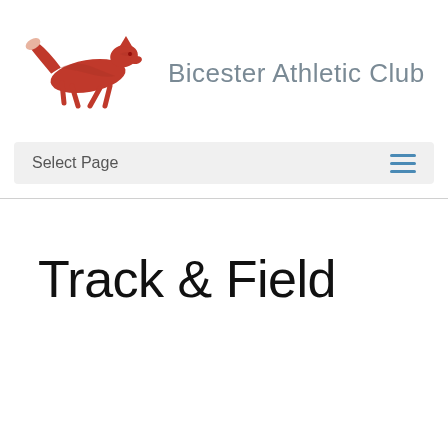[Figure (logo): Bicester Athletic Club logo: red illustrated fox running, with text 'Bicester Athletic Club' in grey to the right]
Select Page
Track & Field